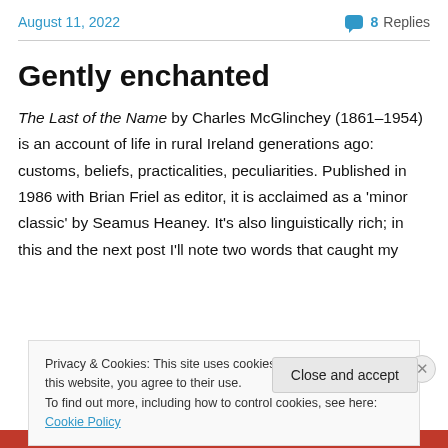August 11, 2022   8 Replies
Gently enchanted
The Last of the Name by Charles McGlinchey (1861–1954) is an account of life in rural Ireland generations ago: customs, beliefs, practicalities, peculiarities. Published in 1986 with Brian Friel as editor, it is acclaimed as a 'minor classic' by Seamus Heaney. It's also linguistically rich; in this and the next post I'll note two words that caught my
Privacy & Cookies: This site uses cookies. By continuing to use this website, you agree to their use.
To find out more, including how to control cookies, see here: Cookie Policy
Close and accept